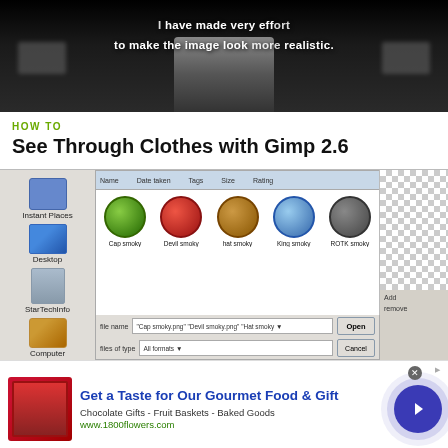[Figure (screenshot): Video screenshot showing a person in a dark background with white overlay text about making images more realistic]
HOW TO
See Through Clothes with Gimp 2.6
[Figure (screenshot): GIMP 2.6 file open dialog screenshot showing emoji/smiley face icon files and a checkered transparency canvas]
[Figure (screenshot): Advertisement banner: Get a Taste for Our Gourmet Food & Gift - Chocolate Gifts - Fruit Baskets - Baked Goods - www.1800flowers.com]